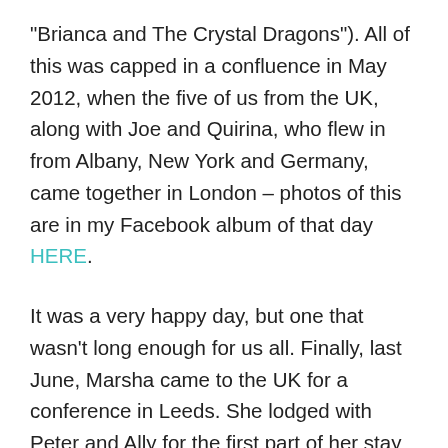“Brianca and The Crystal Dragons”). All of this was capped in a confluence in May 2012, when the five of us from the UK, along with Joe and Quirina, who flew in from Albany, New York and Germany, came together in London – photos of this are in my Facebook album of that day HERE.
It was a very happy day, but one that wasn’t long enough for us all. Finally, last June, Marsha came to the UK for a conference in Leeds. She lodged with Peter and Ally for the first part of her stay and with me for the last part. It was very special to meet her too. So, in answer to your question, I’ve met nearly all of them; only Jackie in New York and Craig in South Africa have yet to meet us. Quite incredible, considering we only